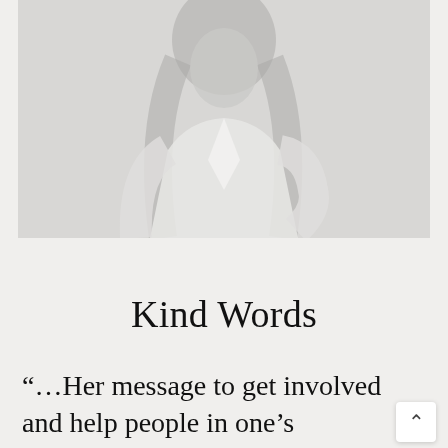[Figure (photo): A woman with long dark hair wearing a white blazer, photographed against a light background. The image is faded/light in tone.]
Kind Words
“…Her message to get involved and help people in one’s